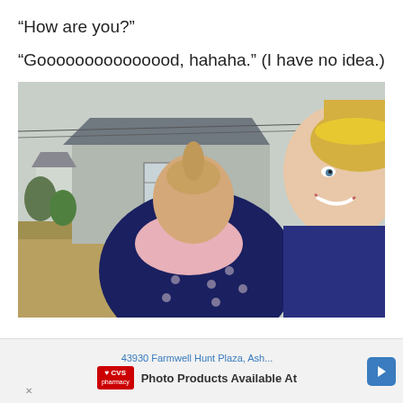“How are you?”
“Gooooooooooooood, hahaha.” (I have no idea.)
[Figure (photo): A smiling blonde woman with a yellow hair accessory hugging a young child in a navy blue polka-dot outfit, outdoors in a yard with a grey house/shed in the background in winter/early spring.]
43930 Farmwell Hunt Plaza, Ash...
Photo Products Available At